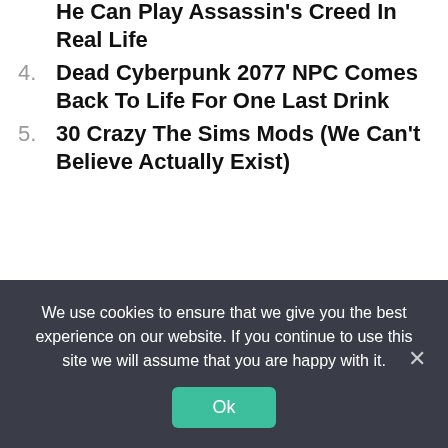He Can Play Assassin's Creed In Real Life
4. Dead Cyberpunk 2077 NPC Comes Back To Life For One Last Drink
5. 30 Crazy The Sims Mods (We Can't Believe Actually Exist)
Previous
Elden Ring: Impaler's Catacombs Dungeon Guide
Next
Salt And Sacrifice: Hardest Mage Fights In The Game
We use cookies to ensure that we give you the best experience on our website. If you continue to use this site we will assume that you are happy with it.